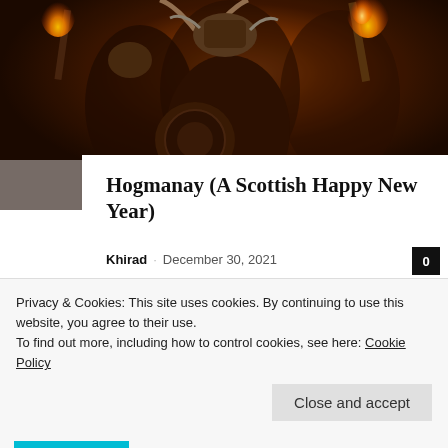[Figure (photo): People dressed as Vikings in horned helmets and cloaks carrying torches at a Hogmanay celebration, photographed at night with warm orange fire light.]
Hogmanay (A Scottish Happy New Year)
Khirad · December 30, 2021
Didna any ye ever figure it odd ye sung that ev'ry New Year's Eve? Not only is it clearly Robert Burns, but it's clearly Scots. Scots English if you want to be
Privacy & Cookies: This site uses cookies. By continuing to use this website, you agree to their use.
To find out more, including how to control cookies, see here: Cookie Policy

Close and accept